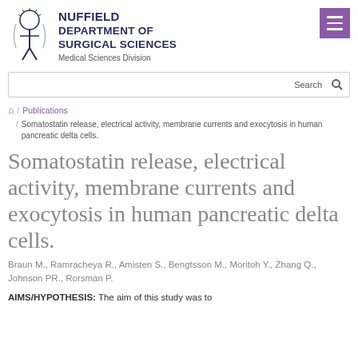[Figure (logo): Nuffield Department of Surgical Sciences logo with stylized human figure and NDS text]
NUFFIELD
DEPARTMENT OF
SURGICAL SCIENCES
Medical Sciences Division
[Figure (other): Purple hamburger menu button]
Search
🏠 / Publications
/ Somatostatin release, electrical activity, membrane currents and exocytosis in human pancreatic delta cells.
Somatostatin release, electrical activity, membrane currents and exocytosis in human pancreatic delta cells.
Braun M., Ramracheya R., Amisten S., Bengtsson M., Moritoh Y., Zhang Q., Johnson PR., Rorsman P.
AIMS/HYPOTHESIS: The aim of this study was to